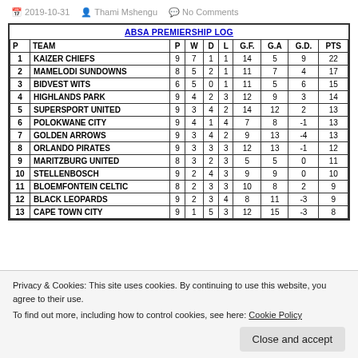2019-10-31   Thami Mshengu   No Comments
| P | TEAM | P | W | D | L | G.F. | G.A | G.D. | PTS |
| --- | --- | --- | --- | --- | --- | --- | --- | --- | --- |
| 1 | KAIZER CHIEFS | 9 | 7 | 1 | 1 | 14 | 5 | 9 | 22 |
| 2 | MAMELODI SUNDOWNS | 8 | 5 | 2 | 1 | 11 | 7 | 4 | 17 |
| 3 | BIDVEST WITS | 6 | 5 | 0 | 1 | 11 | 5 | 6 | 15 |
| 4 | HIGHLANDS PARK | 9 | 4 | 2 | 3 | 12 | 9 | 3 | 14 |
| 5 | SUPERSPORT UNITED | 9 | 3 | 4 | 2 | 14 | 12 | 2 | 13 |
| 6 | POLOKWANE CITY | 9 | 4 | 1 | 4 | 7 | 8 | -1 | 13 |
| 7 | GOLDEN ARROWS | 9 | 3 | 4 | 2 | 9 | 13 | -4 | 13 |
| 8 | ORLANDO PIRATES | 9 | 3 | 3 | 3 | 12 | 13 | -1 | 12 |
| 9 | MARITZBURG UNITED | 8 | 3 | 2 | 3 | 5 | 5 | 0 | 11 |
| 10 | STELLENBOSCH | 9 | 2 | 4 | 3 | 9 | 9 | 0 | 10 |
| 11 | BLOEMFONTEIN CELTIC | 8 | 2 | 3 | 3 | 10 | 8 | 2 | 9 |
| 12 | BLACK LEOPARDS | 9 | 2 | 3 | 4 | 8 | 11 | -3 | 9 |
| 13 | CAPE TOWN CITY | 9 | 1 | 5 | 3 | 12 | 15 | -3 | 8 |
Privacy & Cookies: This site uses cookies. By continuing to use this website, you agree to their use.
To find out more, including how to control cookies, see here: Cookie Policy
Close and accept